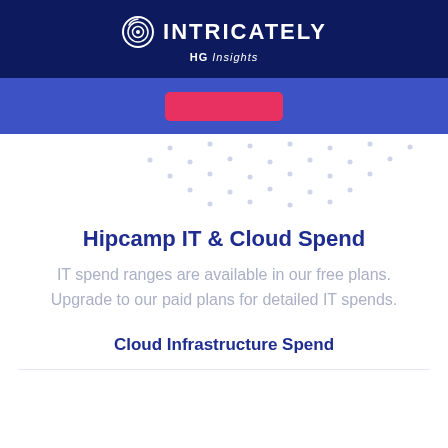INTRICATELY HG Insights
[Figure (other): Blue card area with pink/red button and decorative dot pattern background]
Hipcamp IT & Cloud Spend
IT spend ranges are available in our free plans. Upgrade to our paid plans for detailed IT spends.
Cloud Infrastructure Spend